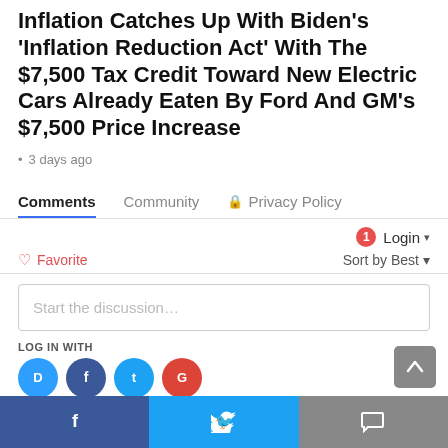Inflation Catches Up With Biden's 'Inflation Reduction Act' With The $7,500 Tax Credit Toward New Electric Cars Already Eaten By Ford And GM's $7,500 Price Increase
• 3 days ago
Comments   Community   🔒 Privacy Policy
🔔1  Login ▼
♡ Favorite   Sort by Best ▼
Start the discussion…
LOG IN WITH
[Figure (infographic): Social login icons: Disqus (blue circle), Facebook (dark blue circle), Twitter (light blue circle), Google (red circle)]
f  [Facebook]   🐦 [Twitter]   💬 [Comment]